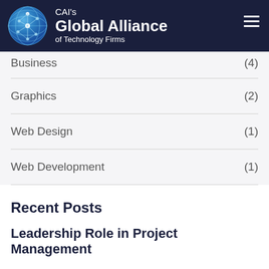[Figure (logo): CAI's Global Alliance of Technology Firms logo with globe and dark navy header bar with hamburger menu]
Business (4)
Graphics (2)
Web Design (1)
Web Development (1)
Recent Posts
Leadership Role in Project Management